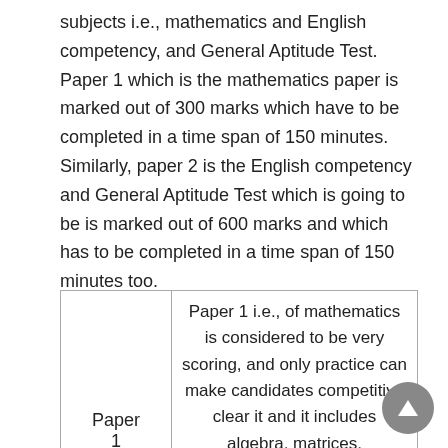subjects i.e., mathematics and English competency, and General Aptitude Test. Paper 1 which is the mathematics paper is marked out of 300 marks which have to be completed in a time span of 150 minutes. Similarly, paper 2 is the English competency and General Aptitude Test which is going to be is marked out of 600 marks and which has to be completed in a time span of 150 minutes too.
|  |  |
| --- | --- |
| Paper 1 | Paper 1 i.e., of mathematics is considered to be very scoring, and only practice can make candidates competitive clear it and it includes algebra, matrices, trigonometry, calculus, statistics, decimal fractions, percentage, average, ratio, and proportions, etc. |
|  | Paper 2 commonly known as GAT can |